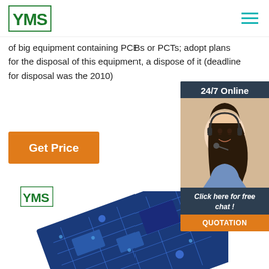YMS logo and navigation
of big equipment containing PCBs or PCTs; adopt plans for the disposal of this equipment, a dispose of it (deadline for disposal was the 2010)
[Figure (photo): 24/7 Online chat widget with female customer service agent wearing headset, dark blue background, orange quotation button]
[Figure (other): Orange Get Price button]
[Figure (photo): YMS logo small and blue PCB circuit board photo at bottom of page]